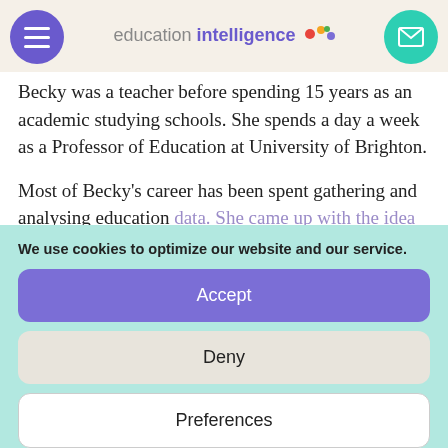education intelligence
Becky was a teacher before spending 15 years as an academic studying schools. She spends a day a week as a Professor of Education at University of Brighton.

Most of Becky's career has been spent gathering and analysing education data. She came up with the idea of Teacher Tapp through the frustration of
We use cookies to optimize our website and our service.
Accept
Deny
Preferences